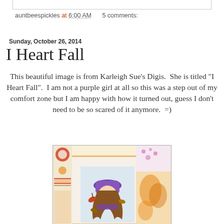auntbeespickles at 6:00 AM   5 comments:
Sunday, October 26, 2014
I Heart Fall
This beautiful image is from Karleigh Sue's Digis.  She is titled "I Heart Fall".  I am not a purple girl at all so this was a step out of my comfort zone but I am happy with how it turned out, guess I don't need to be so scared of it anymore.  =)
[Figure (photo): A handmade craft card featuring an illustrated girl wearing a purple hat and scarf surrounded by autumn leaves, set on an orange and white patterned background with paisley designs]